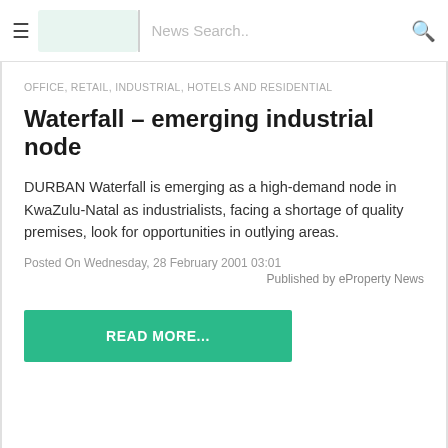News Search..
OFFICE, RETAIL, INDUSTRIAL, HOTELS AND RESIDENTIAL
Waterfall – emerging industrial node
DURBAN Waterfall is emerging as a high-demand node in KwaZulu-Natal as industrialists, facing a shortage of quality premises, look for opportunities in outlying areas.
Posted On Wednesday, 28 February 2001 03:01
Published by eProperty News
READ MORE...